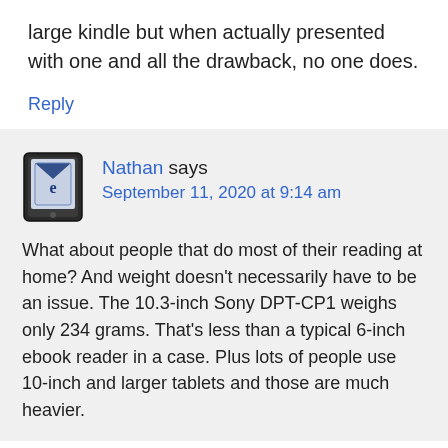large kindle but when actually presented with one and all the drawback, no one does.
Reply
Nathan says September 11, 2020 at 9:14 am
What about people that do most of their reading at home? And weight doesn't necessarily have to be an issue. The 10.3-inch Sony DPT-CP1 weighs only 234 grams. That's less than a typical 6-inch ebook reader in a case. Plus lots of people use 10-inch and larger tablets and those are much heavier.